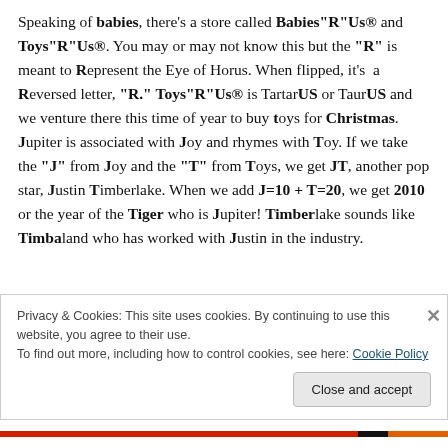Speaking of babies, there's a store called Babies"R"Us® and Toys"R"Us®. You may or may not know this but the "R" is meant to Represent the Eye of Horus. When flipped, it's a Reversed letter, "R." Toys"R"Us® is TartarUS or TaurUS and we venture there this time of year to buy toys for Christmas. Jupiter is associated with Joy and rhymes with Toy. If we take the "J" from Joy and the "T" from Toys, we get JT, another pop star, Justin Timberlake. When we add J=10 + T=20, we get 2010 or the year of the Tiger who is Jupiter! Timberlake sounds like Timbaland who has worked with Justin in the industry.
Privacy & Cookies: This site uses cookies. By continuing to use this website, you agree to their use.
To find out more, including how to control cookies, see here: Cookie Policy